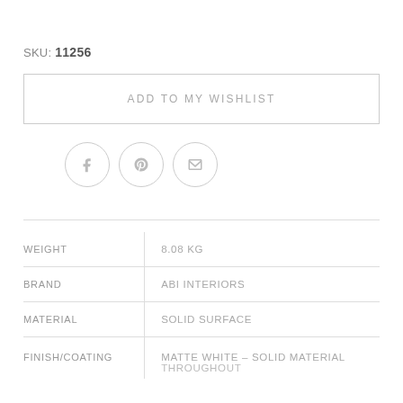SKU: 11256
ADD TO MY WISHLIST
[Figure (other): Three social sharing icon circles: Facebook (f), Pinterest (p), Email (envelope)]
| Attribute | Value |
| --- | --- |
| WEIGHT | 8.08 KG |
| BRAND | ABI INTERIORS |
| MATERIAL | SOLID SURFACE |
| FINISH/COATING | MATTE WHITE – SOLID MATERIAL THROUGHOUT |